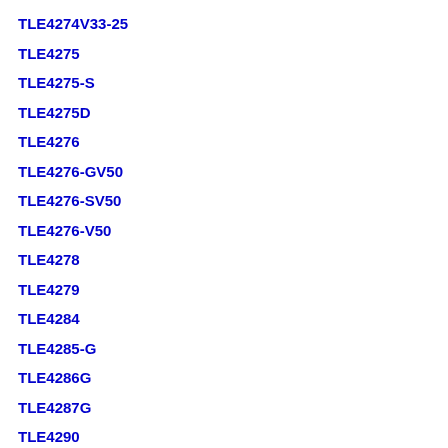TLE4274V33-25
TLE4275
TLE4275-S
TLE4275D
TLE4276
TLE4276-GV50
TLE4276-SV50
TLE4276-V50
TLE4278
TLE4279
TLE4284
TLE4285-G
TLE4286G
TLE4287G
TLE4290